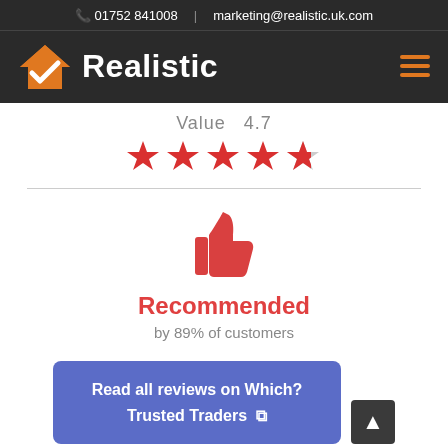01752 841008  |  marketing@realistic.uk.com
[Figure (logo): Realistic company logo with orange house icon and white checkmark, white bold text 'Realistic' on dark background, hamburger menu icon in orange on right]
Value  4.7
[Figure (infographic): Five red/crimson star rating icons showing approximately 4.7 out of 5 stars]
[Figure (infographic): Red thumbs up icon]
Recommended
by 89% of customers
Read all reviews on Which? Trusted Traders